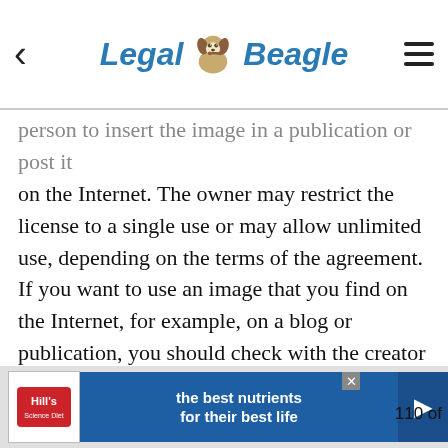Legal Beagle
person to insert the image in a publication or post it on the Internet. The owner may restrict the license to a single use or may allow unlimited use, depending on the terms of the agreement. If you want to use an image that you find on the Internet, for example, on a blog or publication, you should check with the creator or owner whether you need to purchase a license.
Fair Use
Copyright law allows the use of certain images without a license if the use is deemed to be fair. Fair use includes educational purposes, news, criticism, ... 110 of the ...